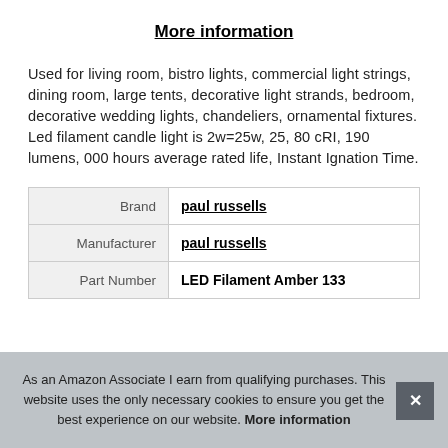More information
Used for living room, bistro lights, commercial light strings, dining room, large tents, decorative light strands, bedroom, decorative wedding lights, chandeliers, ornamental fixtures. Led filament candle light is 2w=25w, 25, 80 cRI, 190 lumens, 000 hours average rated life, Instant Ignation Time.
| Brand | paul russells |
| Manufacturer | paul russells |
| Part Number | LED Filament Amber 133 |
As an Amazon Associate I earn from qualifying purchases. This website uses the only necessary cookies to ensure you get the best experience on our website. More information